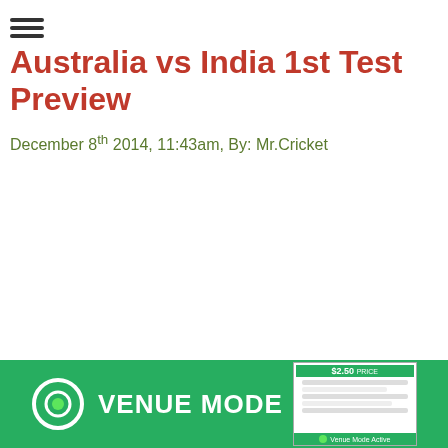Australia vs India 1st Test Preview
December 8th 2014, 11:43am, By: Mr.Cricket
1st Test: Australia vs India
Where: Adelaide Oval
When: December 9th-13th
After the tragic passing of talented young Aussie batsman Phil
[Figure (screenshot): Green banner advertisement for Venue Mode app showing logo with circular icon, bold text VENUE MODE, and a screenshot of the app interface]